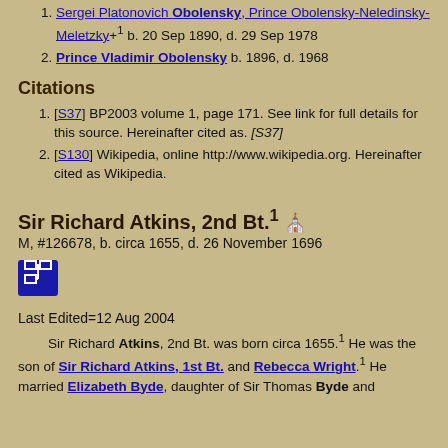Sergei Platonovich Obolensky, Prince Obolensky-Neledinsky-Meletzky+1 b. 20 Sep 1890, d. 29 Sep 1978
Prince Vladimir Obolensky b. 1896, d. 1968
Citations
[S37] BP2003 volume 1, page 171. See link for full details for this source. Hereinafter cited as. [S37]
[S130] Wikipedia, online http://www.wikipedia.org. Hereinafter cited as Wikipedia.
Sir Richard Atkins, 2nd Bt.1
M, #126678, b. circa 1655, d. 26 November 1696
Last Edited=12 Aug 2004
Sir Richard Atkins, 2nd Bt. was born circa 1655.1 He was the son of Sir Richard Atkins, 1st Bt. and Rebecca Wright.1 He married Elizabeth Byde, daughter of Sir Thomas Byde and